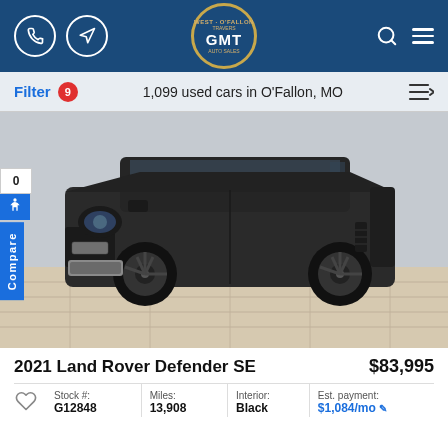GMT Auto Sales — Navigation header with phone, directions icons, GMT logo, search, and menu icons
Filter 9   1,099 used cars in O'Fallon, MO
[Figure (photo): Black 2021 Land Rover Defender SE SUV parked indoors on wood-look flooring, front three-quarter view]
2021 Land Rover Defender SE
$83,995
| Stock #: | Miles: | Interior: | Est. payment: |
| --- | --- | --- | --- |
| G12848 | 13,908 | Black | $1,084/mo |